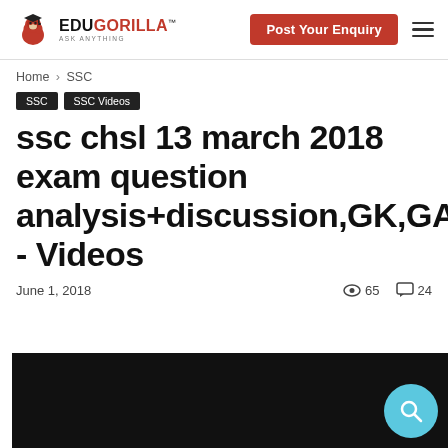EduGorilla - Post Your Enquiry
Home › SSC
SSC  SSC Videos
ssc chsl 13 march 2018 exam question analysis+discussion,GK,GA - Videos
June 1, 2018   65   24
[Figure (screenshot): Black video thumbnail at the bottom of the page with a cyan/blue circular search button in the bottom right corner]